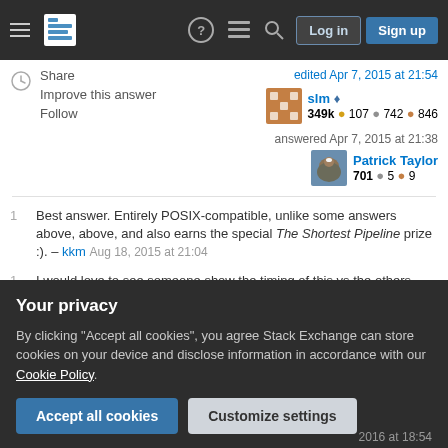Stack Exchange navigation bar with hamburger menu, logo, help, chat, search icons, Log in and Sign up buttons
Share | edited Apr 7, 2015 at 21:54
Improve this answer
Follow
slm ♦
349k ● 107 ● 742 ● 846
answered Apr 7, 2015 at 21:38
Patrick Taylor
701 ● 5 ● 9
1   Best answer. Entirely POSIX-compatible, unlike some answers above, above, and also earns the special The Shortest Pipeline prize :). – kkm Aug 18, 2015 at 21:04
1   I would love to see someone show the timing of this vs the others above, because I got the feeling this is by
2016 at 18:54
Your privacy
By clicking "Accept all cookies", you agree Stack Exchange can store cookies on your device and disclose information in accordance with our Cookie Policy.
Accept all cookies | Customize settings